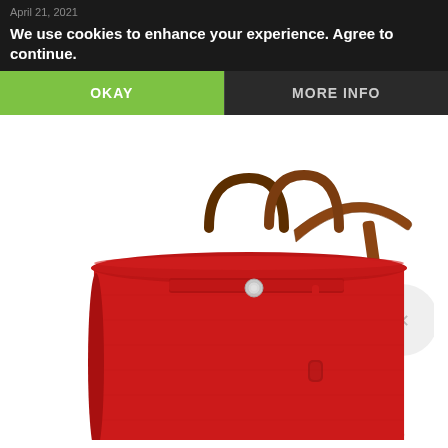April 21, 2021
We use cookies to enhance your experience. Agree to continue.
OKAY
MORE INFO
[Figure (photo): A red Hermès Herbag zip bag with brown leather top handles and a long brown leather shoulder strap. The bag has a canvas body in rouge red, a leather flap with a silver snap closure button, and a small leather toggle/key charm on the side. The bag is photographed on a white background.]